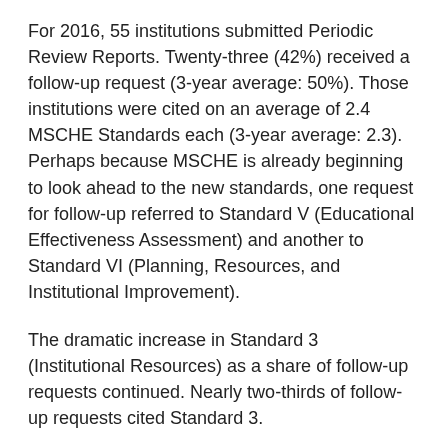For 2016, 55 institutions submitted Periodic Review Reports. Twenty-three (42%) received a follow-up request (3-year average: 50%). Those institutions were cited on an average of 2.4 MSCHE Standards each (3-year average: 2.3). Perhaps because MSCHE is already beginning to look ahead to the new standards, one request for follow-up referred to Standard V (Educational Effectiveness Assessment) and another to Standard VI (Planning, Resources, and Institutional Improvement).
The dramatic increase in Standard 3 (Institutional Resources) as a share of follow-up requests continued. Nearly two-thirds of follow-up requests cited Standard 3.
The 2016 PRR cycle saw MSCHE issue citations for 9 of its 14 standards. The only standards not cited were Standard 1 (Mission and Goals), Standard 9 (Student Support Services), Standard 10 (Faculty), Standard 11 (Educational Offerings), and Standard 13 (Related Educational Activities).